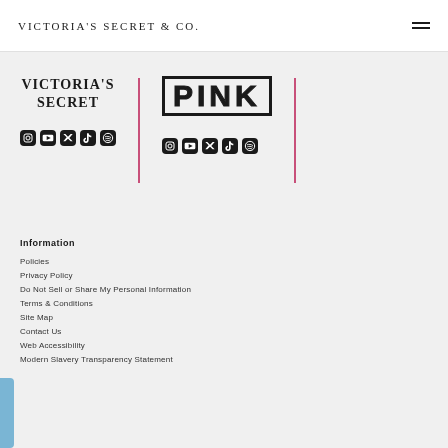Victoria's Secret & Co.
[Figure (logo): Victoria's Secret logo with italic serif text]
[Figure (logo): PINK brand logo in bold outlined block letters]
Information
Policies
Privacy Policy
Do Not Sell or Share My Personal Information
Terms & Conditions
Site Map
Contact Us
Web Accessibility
Modern Slavery Transparency Statement